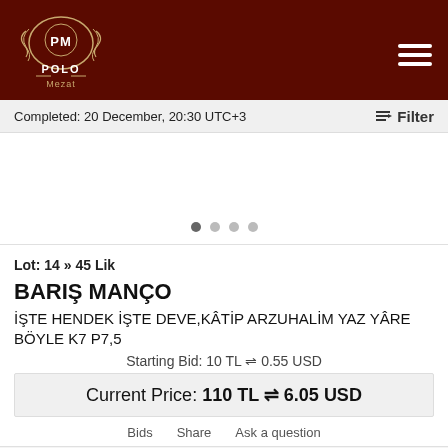[Figure (logo): Polo Mezat logo with PM emblem and decorative border, white text on dark red background]
Completed: 20 December, 20:30 UTC+3
Filter
[Figure (photo): Blank/empty image area with carousel dots below]
Lot: 14 » 45 Lik
BARIŞ MANÇO
İŞTE HENDEK İŞTE DEVE,KÂTİP ARZUHALİM YAZ YÂRE BÖYLE K7 P7,5
Starting Bid: 10 TL ⇌ 0.55 USD
Current Price: 110 TL ⇌ 6.05 USD
Bids   Share   Ask a question
Go to Page:   1 ▼  / 7   >